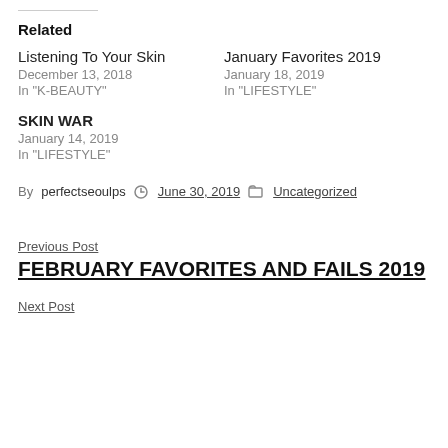Related
Listening To Your Skin
December 13, 2018
In "K-BEAUTY"
January Favorites 2019
January 18, 2019
In "LIFESTYLE"
SKIN WAR
January 14, 2019
In "LIFESTYLE"
By perfectseoulps   June 30, 2019   Uncategorized
Previous Post
FEBRUARY FAVORITES AND FAILS 2019
Next Post